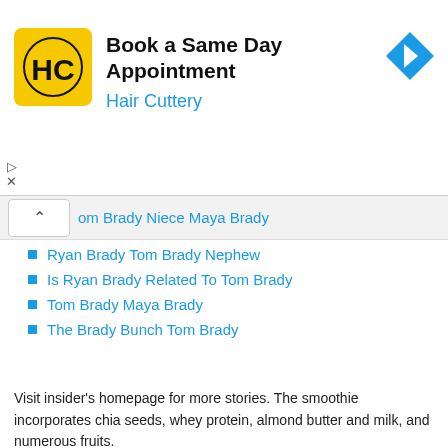[Figure (other): Hair Cuttery advertisement banner with logo, text 'Book a Same Day Appointment' and 'Hair Cuttery', and a blue navigation arrow icon]
Tom Brady Niece Maya Brady
Ryan Brady Tom Brady Nephew
Is Ryan Brady Related To Tom Brady
Tom Brady Maya Brady
The Brady Bunch Tom Brady
Visit insider's homepage for more stories. The smoothie incorporates chia seeds, whey protein, almond butter and milk, and numerous fruits.
[Figure (photo): A person in a light blue sweater using a red scoop over a blender, making a smoothie]